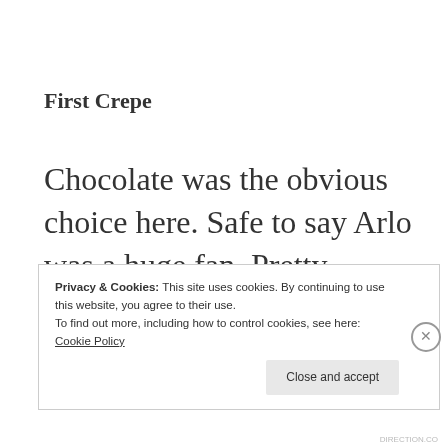First Crepe
Chocolate was the obvious choice here. Safe to say Arlo was a huge fan. Pretty expensive in the mountains but well worth it for seeing the stoke levels from
Privacy & Cookies: This site uses cookies. By continuing to use this website, you agree to their use.
To find out more, including how to control cookies, see here: Cookie Policy
DIRECTION.CO